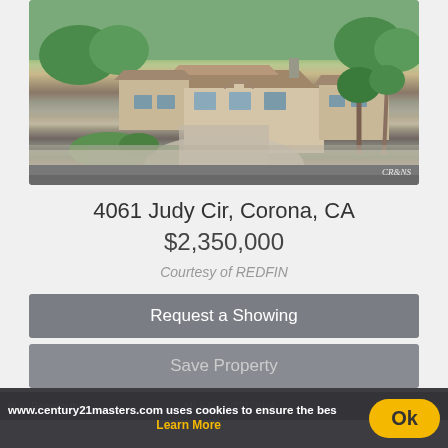[Figure (photo): Aerial/overhead view of a large single-story luxury home with tile roof, curved driveway, palm trees, and landscaped yard in Corona, CA]
4061 Judy Cir, Corona, CA
$2,350,000
Courtesy of REDFIN
Request a Showing
Save Property
www.century21masters.com uses cookies to ensure the bes
Learn More
Ok
Reciprocity   MLS ID: IV221781/4
Privacy - Terms